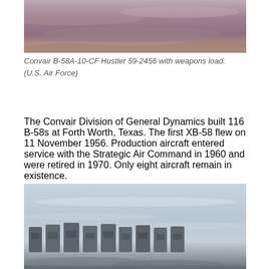[Figure (photo): Aerial photograph of Convair B-58A Hustler aircraft, showing upper fuselage and landscape below, with purplish-brown hues.]
Convair B-58A-10-CF Hustler 59-2456 with weapons load. (U.S. Air Force)
The Convair Division of General Dynamics built 116 B-58s at Forth Worth, Texas. The first XB-58 flew on 11 November 1956. Production aircraft entered service with the Strategic Air Command in 1960 and were retired in 1970. Only eight aircraft remain in existence.
[Figure (photo): Ground-level photograph showing a row of military aircraft tail fins lined up on an airfield, with overcast sky in the background.]